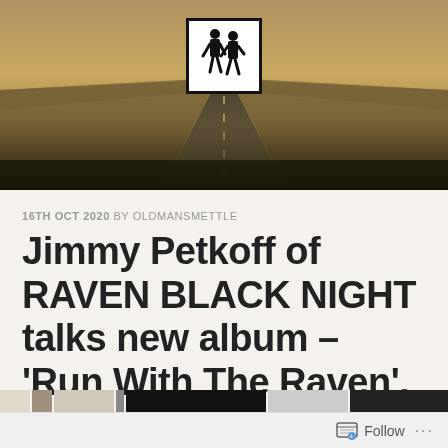[Figure (photo): Header photo of a long straight road stretching into the horizon with an old western/rural landscape. A square logo with a border showing two figures (silhouettes of people) is centered at the top.]
16TH OCT 2020 BY OLDMANSMETTLE
Jimmy Petkoff of RAVEN BLACK NIGHT talks new album – ‘Run With The Raven’.